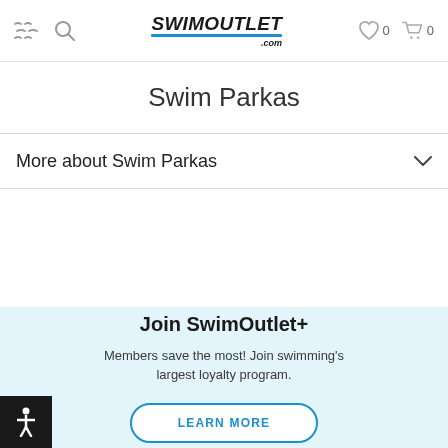SwimOutlet.com — navigation header with menu, search, wishlist (0), cart (0)
Swim Parkas
More about Swim Parkas
Join SwimOutlet+
Members save the most! Join swimming's largest loyalty program.
LEARN MORE